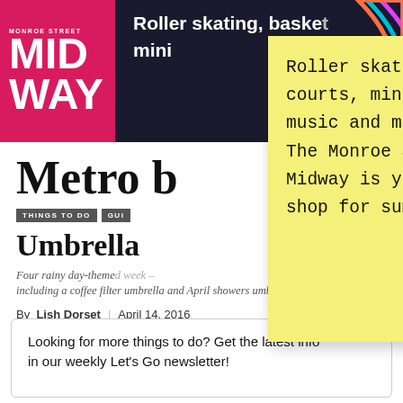[Figure (screenshot): Monroe Street Midway logo — dark background header with 'MID WAY' in large white bold text on pink/magenta block, with text 'Roller skating, basketball, mini...' partially visible]
[Figure (illustration): Yellow post-it note overlaying the page with handwritten text: 'Roller skating, sports courts, mini-golf, live music and more! The Monroe Street Midway is your one-stop shop for summer fun!']
Metro b
THINGS TO DO
GUI
Umbrella
Four rainy day-theme... week – including a coffee filter umbrella and April showers umbrella.
By Lish Dorset | April 14, 2016
Looking for more things to do? Get the latest info in our weekly Let's Go newsletter!